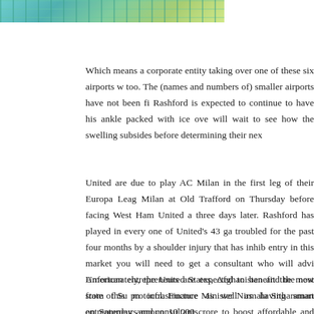[Figure (photo): Partial image at top of page, appears to show currency or decorative artwork with teal/green tones]
Which means a corporate entity taking over one of these six airports w too. The (names and numbers of) smaller airports have not been fi Rashford is expected to continue to have his ankle packed with ice ove will wait to see how the swelling subsides before determining their nex
United are due to play AC Milan in the first leg of their Europa Leag Milan at Old Trafford on Thursday before facing West Ham United a three days later. Rashford has played in every one of United's 43 ga troubled for the past four months by a shoulder injury that has inhib entry in this market you will need to get a consultant who will advi American entrepreneurs are expected to benefit the most from this m infrastructure as well as having smart entrepreneurs and consultants.
Unfortunately, the United States, Afghanistan and the new state of Su protocol. Finance Minister Nirmala Sitharaman on Saturday announ 10,000 crore to boost affordable and middle income housing. The m